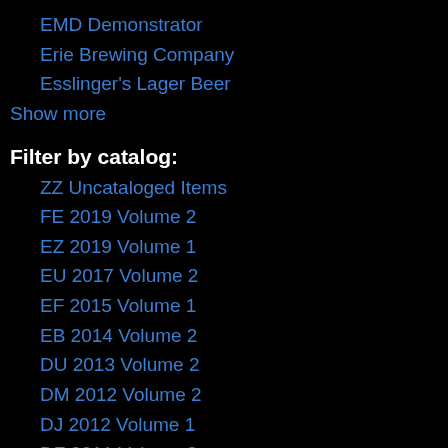EMD Demonstrator
Erie Brewing Company
Esslinger's Lager Beer
Show more
Filter by catalog:
ZZ Uncataloged Items
FE 2019 Volume 2
EZ 2019 Volume 1
EU 2017 Volume 2
EF 2015 Volume 1
EB 2014 Volume 2
DU 2013 Volume 2
DM 2012 Volume 2
DJ 2012 Volume 1
DF 2011 Volume 2
Show more